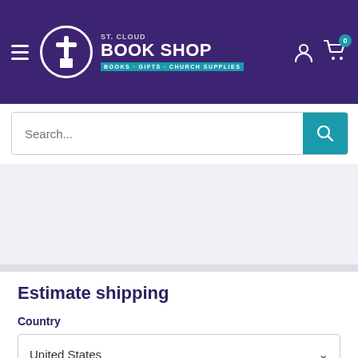[Figure (logo): St. Cloud Book Shop logo with cross icon inside circle, subtitle: BOOKS · GIFTS · CHURCH SUPPLIES on teal background, full purple header with hamburger menu, user and cart icons]
Search...
Estimate shipping
Country
United States
Province
Alabama